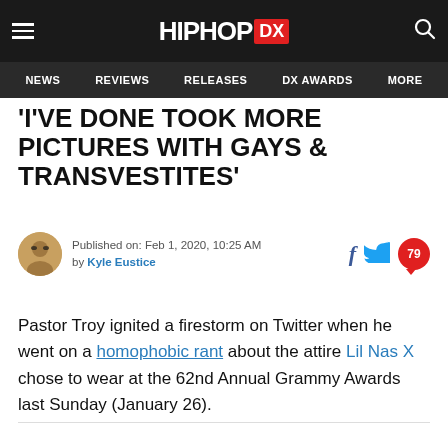HIPHOP DX — NEWS | REVIEWS | RELEASES | DX AWARDS | MORE
'I'VE DONE TOOK MORE PICTURES WITH GAYS & TRANSVESTITES'
Published on: Feb 1, 2020, 10:25 AM by Kyle Eustice
Pastor Troy ignited a firestorm on Twitter when he went on a homophobic rant about the attire Lil Nas X chose to wear at the 62nd Annual Grammy Awards last Sunday (January 26).